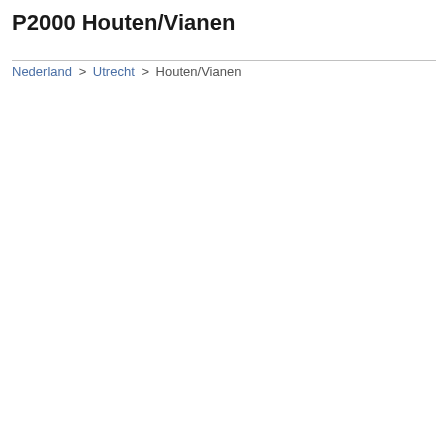P2000 Houten/Vianen
Nederland > Utrecht > Houten/Vianen